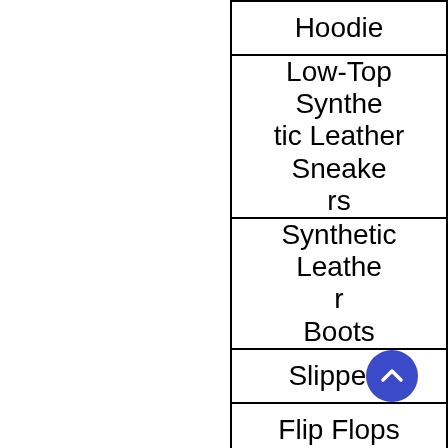| Hoodie |
| Low-Top Synthetic Leather Sneakers |
| Synthetic Leather Boots |
| Slippers |
| Flip Flops |
| Crew Socks |
| Slip-on Shoes |
| High-Top Synthetic Leather Sneakers |